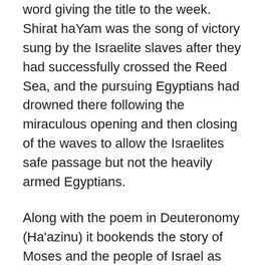word giving the title to the week. Shirat haYam was the song of victory sung by the Israelite slaves after they had successfully crossed the Reed Sea, and the pursuing Egyptians had drowned there following the miraculous opening and then closing of the waves to allow the Israelites safe passage but not the heavily armed Egyptians.
Along with the poem in Deuteronomy (Ha'azinu) it bookends the story of Moses and the people of Israel as they leave Egyptian slavery and journey through the wilderness to arrive at the edge of the promised land, and tradition ascribes its authorship to Moses.
But tucked into the text a little way down we are introduced for the first time by name to Miriam, described as “Miriam the prophetess, the sister of Aaron” and she